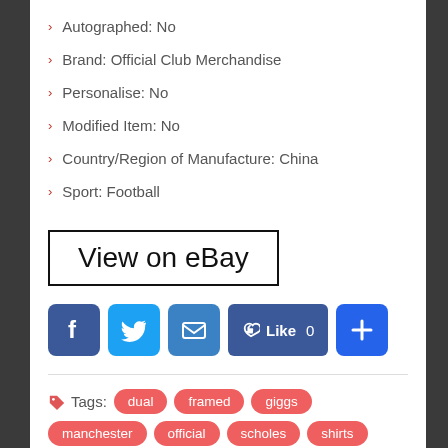Autographed: No
Brand: Official Club Merchandise
Personalise: No
Modified Item: No
Country/Region of Manufacture: China
Sport: Football
View on eBay
[Figure (infographic): Row of social sharing buttons: Facebook, Twitter, Email, Facebook Like (0), and a plus/share button]
Tags: dual framed giggs manchester official scholes shirts signed united
#manchester
Comments are closed.